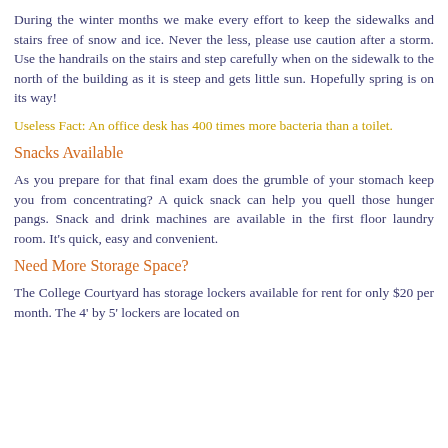During the winter months we make every effort to keep the sidewalks and stairs free of snow and ice. Never the less, please use caution after a storm. Use the handrails on the stairs and step carefully when on the sidewalk to the north of the building as it is steep and gets little sun. Hopefully spring is on its way!
Useless Fact: An office desk has 400 times more bacteria than a toilet.
Snacks Available
As you prepare for that final exam does the grumble of your stomach keep you from concentrating? A quick snack can help you quell those hunger pangs. Snack and drink machines are available in the first floor laundry room. It's quick, easy and convenient.
Need More Storage Space?
The College Courtyard has storage lockers available for rent for only $20 per month. The 4' by 5' lockers are located on